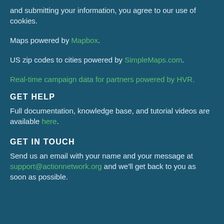and submitting your information, you agree to our use of cookies.
Maps powered by Mapbox.
US zip codes to cities powered by SimpleMaps.com.
Real-time campaign data for partners powered by HVR.
GET HELP
Full documentation, knowledge base, and tutorial videos are available here.
GET IN TOUCH
Send us an email with your name and your message at support@actionnetwork.org and we'll get back to you as soon as possible.